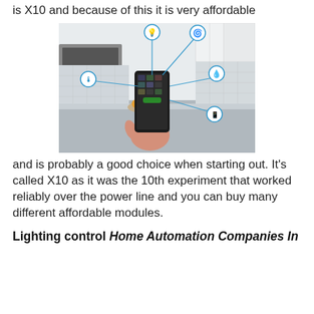is X10 and because of this it is very affordable
[Figure (photo): A hand holding a smartphone with a home automation app interface, connected by blue lines to smart home control icons (lighting, fan, temperature, water, appliances) in a kitchen background.]
and is probably a good choice when starting out. It’s called X10 as it was the 10th experiment that worked reliably over the power line and you can buy many different affordable modules.
Lighting control Home Automation Companies In